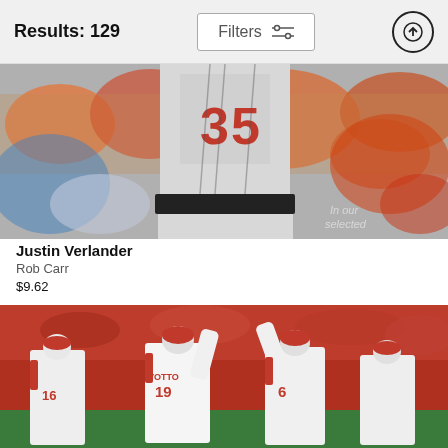Results: 129
Filters
[Figure (photo): Baseball player wearing jersey number 35, cropped to show torso/waist in a gray uniform with black belt, with orange-clad crowd in background. Partial watermark visible at bottom right.]
Justin Verlander
Rob Carr
$9.62
[Figure (photo): Cincinnati Reds baseball players celebrating on field. Player number 19 (Votto) and number 6 are high-fiving, with players 16 and others visible. Players wear white Reds uniforms. Red stadium seats and crowd in background.]